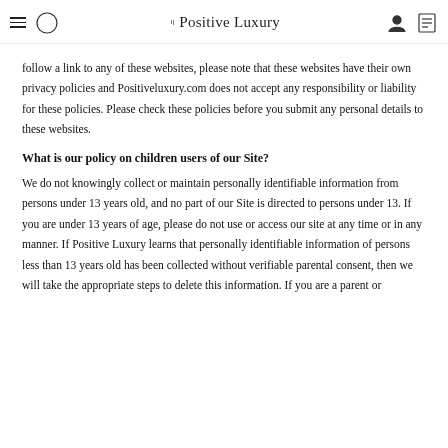Positive Luxury
follow a link to any of these websites, please note that these websites have their own privacy policies and Positiveluxury.com does not accept any responsibility or liability for these policies. Please check these policies before you submit any personal details to these websites.
What is our policy on children users of our Site?
We do not knowingly collect or maintain personally identifiable information from persons under 13 years old, and no part of our Site is directed to persons under 13. If you are under 13 years of age, please do not use or access our site at any time or in any manner. If Positive Luxury learns that personally identifiable information of persons less than 13 years old has been collected without verifiable parental consent, then we will take the appropriate steps to delete this information. If you are a parent or